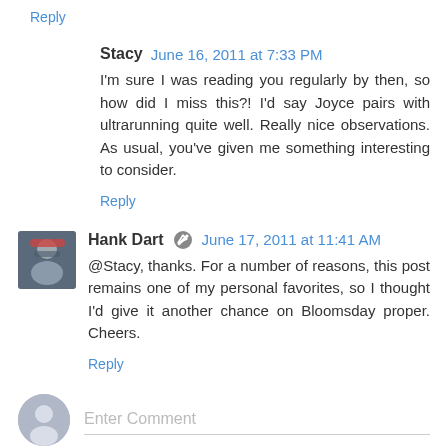Reply
Stacy  June 16, 2011 at 7:33 PM
I'm sure I was reading you regularly by then, so how did I miss this?! I'd say Joyce pairs with ultrarunning quite well. Really nice observations. As usual, you've given me something interesting to consider.
Reply
Hank Dart  June 17, 2011 at 11:41 AM
@Stacy, thanks. For a number of reasons, this post remains one of my personal favorites, so I thought I'd give it another chance on Bloomsday proper. Cheers.
Reply
Enter Comment